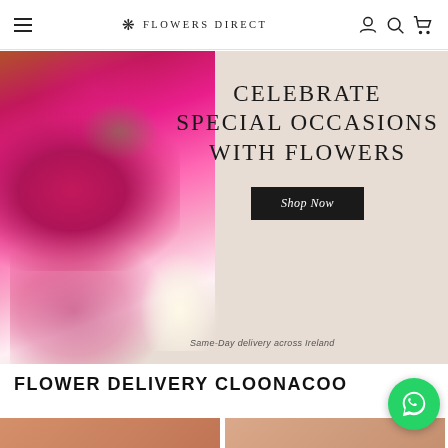FLOWERS DIRECT
[Figure (photo): Hero banner showing pink roses bouquet on left with text overlay: CELEBRATE SPECIAL OCCASIONS WITH FLOWERS, Shop Now button, and Same-Day delivery across Ireland subtext]
FLOWER DELIVERY CLOONACOO
[Figure (photo): Partial product thumbnail images at bottom of page]
[Figure (logo): WhatsApp green circular chat bubble icon in bottom right corner]